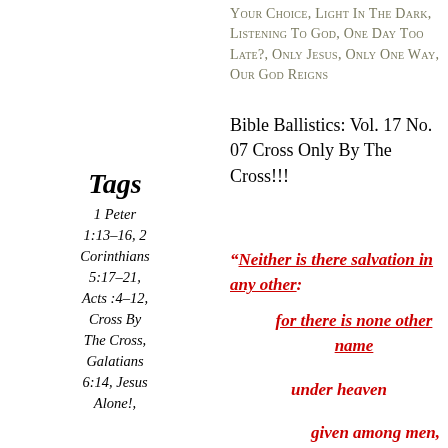Your Choice, Light In The Dark, Listening To God, One Day Too Late?, Only Jesus, Only One Way, Our God Reigns
Bible Ballistics: Vol. 17 No. 07 Cross Only By The Cross!!!
Tags
1 Peter 1:13–16, 2 Corinthians 5:17–21, Acts :4–12, Cross By The Cross, Galatians 6:14, Jesus Alone!,
“Neither is there salvation in any other: for there is none other name under heaven given among men,